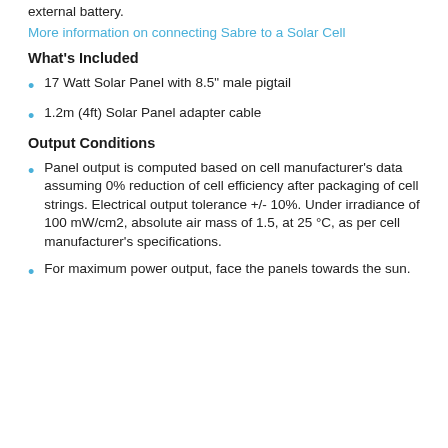external battery.
More information on connecting Sabre to a Solar Cell
What's Included
17 Watt Solar Panel with 8.5" male pigtail
1.2m (4ft) Solar Panel adapter cable
Output Conditions
Panel output is computed based on cell manufacturer's data assuming 0% reduction of cell efficiency after packaging of cell strings. Electrical output tolerance +/- 10%. Under irradiance of 100 mW/cm2, absolute air mass of 1.5, at 25 °C, as per cell manufacturer's specifications.
For maximum power output, face the panels towards the sun.